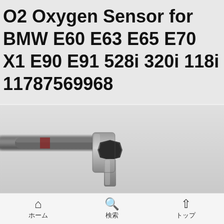O2 Oxygen Sensor for BMW E60 E63 E65 E70 X1 E90 E91 528i 320i 118i 11787569968
[Figure (photo): Close-up photograph of an O2 oxygen sensor component showing a threaded metal body with a black hexagonal nut fitting, metallic tip, and cable/wire attached, on a light grey background.]
ホーム　検索　トップ